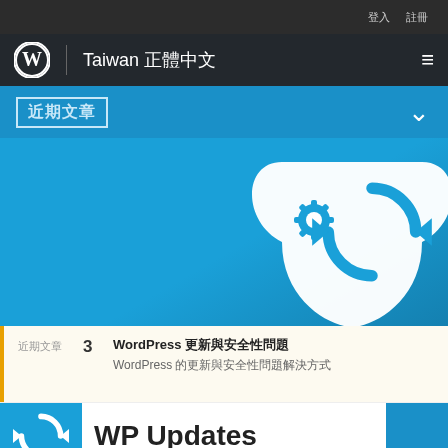登入  註冊
Taiwan 正體中文
近期文章
[Figure (illustration): Blue hero banner with white tear-drop shaped icon containing a blue gear and sync/refresh arrow icon]
近期文章   3  WordPress 更新與安全性問題
WordPress 的更新與安全性問題解決方式
WP Updates